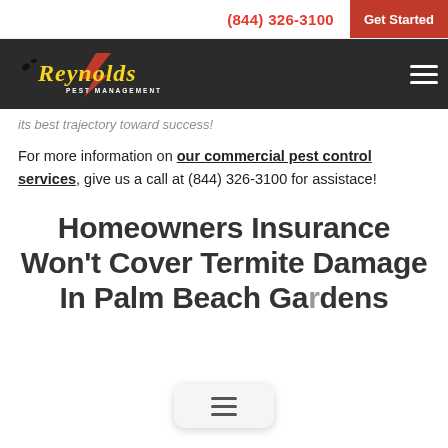(844) 326-3100   Get Started
[Figure (logo): Reynolds Pest Management logo with yellow italic text, red lightning bolt, and pest management subtitle on dark background with hamburger menu icon on right]
its best trajectory toward success!
For more information on our commercial pest control services, give us a call at (844) 326-3100 for assistace!
Homeowners Insurance Won't Cover Termite Damage In Palm Beach Gardens